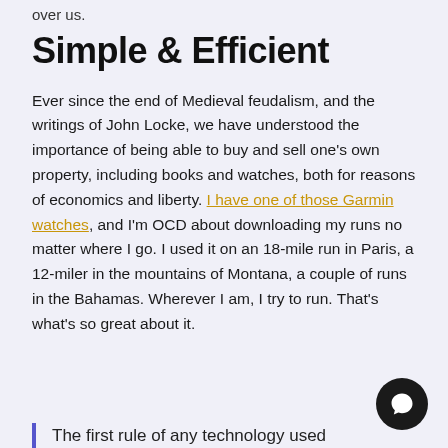over us.
Simple & Efficient
Ever since the end of Medieval feudalism, and the writings of John Locke, we have understood the importance of being able to buy and sell one's own property, including books and watches, both for reasons of economics and liberty. I have one of those Garmin watches, and I'm OCD about downloading my runs no matter where I go. I used it on an 18-mile run in Paris, a 12-miler in the mountains of Montana, a couple of runs in the Bahamas. Wherever I am, I try to run. That's what's so great about it.
The first rule of any technology used